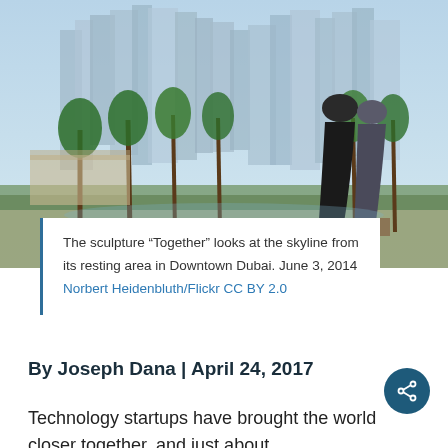[Figure (photo): Photo of the sculpture 'Together' in Downtown Dubai, showing two dark robed figures against a backdrop of palm trees and modern skyscrapers.]
The sculpture “Together” looks at the skyline from its resting area in Downtown Dubai. June 3, 2014 Norbert Heidenbluth/Flickr CC BY 2.0
By Joseph Dana | April 24, 2017
Technology startups have brought the world closer together, and just about